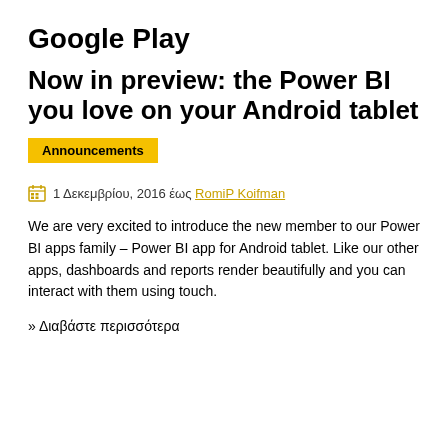Google Play
Now in preview: the Power BI you love on your Android tablet
Announcements
1 Δεκεμβρίου, 2016 έως RomiP Koifman
We are very excited to introduce the new member to our Power BI apps family – Power BI app for Android tablet. Like our other apps, dashboards and reports render beautifully and you can interact with them using touch.
» Διαβάστε περισσότερα